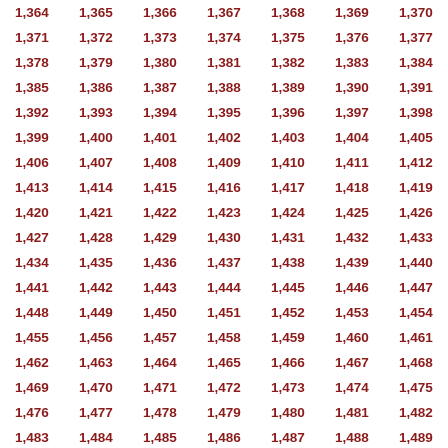| 1,364 | 1,365 | 1,366 | 1,367 | 1,368 | 1,369 | 1,370 |
| 1,371 | 1,372 | 1,373 | 1,374 | 1,375 | 1,376 | 1,377 |
| 1,378 | 1,379 | 1,380 | 1,381 | 1,382 | 1,383 | 1,384 |
| 1,385 | 1,386 | 1,387 | 1,388 | 1,389 | 1,390 | 1,391 |
| 1,392 | 1,393 | 1,394 | 1,395 | 1,396 | 1,397 | 1,398 |
| 1,399 | 1,400 | 1,401 | 1,402 | 1,403 | 1,404 | 1,405 |
| 1,406 | 1,407 | 1,408 | 1,409 | 1,410 | 1,411 | 1,412 |
| 1,413 | 1,414 | 1,415 | 1,416 | 1,417 | 1,418 | 1,419 |
| 1,420 | 1,421 | 1,422 | 1,423 | 1,424 | 1,425 | 1,426 |
| 1,427 | 1,428 | 1,429 | 1,430 | 1,431 | 1,432 | 1,433 |
| 1,434 | 1,435 | 1,436 | 1,437 | 1,438 | 1,439 | 1,440 |
| 1,441 | 1,442 | 1,443 | 1,444 | 1,445 | 1,446 | 1,447 |
| 1,448 | 1,449 | 1,450 | 1,451 | 1,452 | 1,453 | 1,454 |
| 1,455 | 1,456 | 1,457 | 1,458 | 1,459 | 1,460 | 1,461 |
| 1,462 | 1,463 | 1,464 | 1,465 | 1,466 | 1,467 | 1,468 |
| 1,469 | 1,470 | 1,471 | 1,472 | 1,473 | 1,474 | 1,475 |
| 1,476 | 1,477 | 1,478 | 1,479 | 1,480 | 1,481 | 1,482 |
| 1,483 | 1,484 | 1,485 | 1,486 | 1,487 | 1,488 | 1,489 |